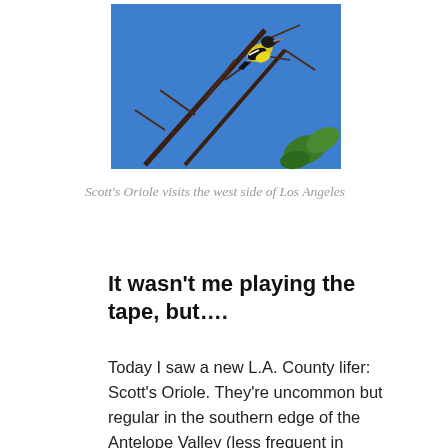[Figure (photo): A Scott's Oriole bird perched on bare tree branches against a bright blue sky, with some green leaves visible in the lower right corner.]
Scott's Oriole visits the west side of Los Angeles
It wasn't me playing the tape, but….
Today I saw a new L.A. County lifer: Scott's Oriole. They're uncommon but regular in the southern edge of the Antelope Valley (less frequent in winter). But that's over an hour from my house, and I rarely get out there. They're rare in the L.A. basin. As happy as I was to finally add it to my L.A. County list, if it wasn't from the absolute...